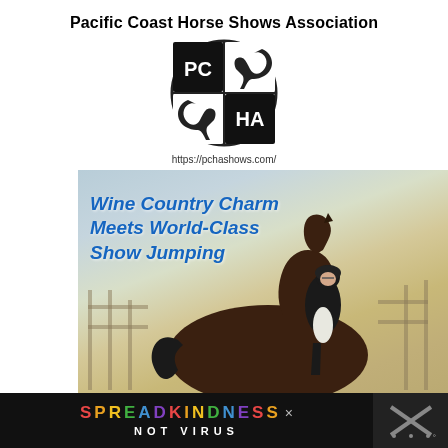Pacific Coast Horse Shows Association
[Figure (logo): PCHA circular logo with horse heads and letters PC/HA in quadrants]
https://pchashows.com/
[Figure (photo): Advertisement for Paso Robles Horse Park showing equestrian rider on dark horse in arena with text Wine Country Charm Meets World-Class Show Jumping and www.PasoRoblesHorsePark.com]
[Figure (infographic): SPREAD KINDNESS NOT VIRUS banner advertisement in colorful letters on dark background]